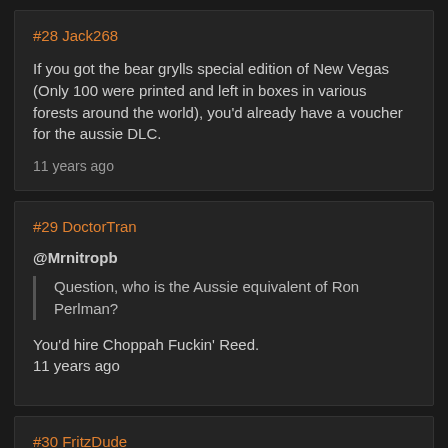#28 Jack268
If you got the bear grylls special edition of New Vegas (Only 100 were printed and left in boxes in various forests around the world), you'd already have a voucher for the aussie DLC.
11 years ago
#29 DoctorTran
@Mrnitropb
Question, who is the Aussie equivalent of Ron Perlman?
You'd hire Choppah Fuckin' Reed.
11 years ago
#30 FritzDude
I think Randy Pitchford would be proud of you.